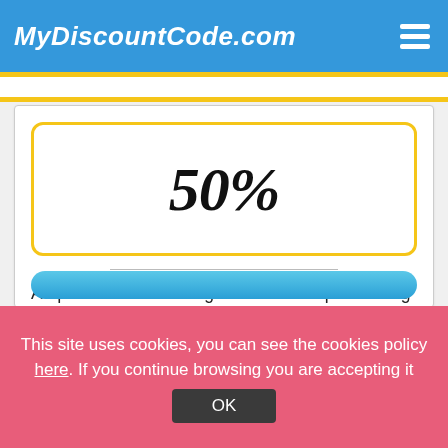MyDiscountCode.com
50%
Acquire with this saving of 50% when purchasing from this online shop. Expires 31/12/2022.
This site uses cookies, you can see the cookies policy here. If you continue browsing you are accepting it
OK